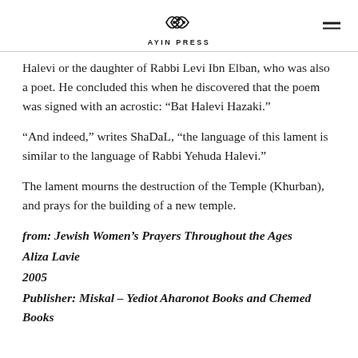AYIN PRESS
Halevi or the daughter of Rabbi Levi Ibn Elban, who was also a poet. He concluded this when he discovered that the poem was signed with an acrostic: “Bat Halevi Hazaki.”
“And indeed,” writes ShaDaL, “the language of this lament is similar to the language of Rabbi Yehuda Halevi.”
The lament mourns the destruction of the Temple (Khurban), and prays for the building of a new temple.
from: Jewish Women’s Prayers Throughout the Ages
Aliza Lavie
2005
Publisher: Miskal – Yediot Aharonot Books and Chemed Books